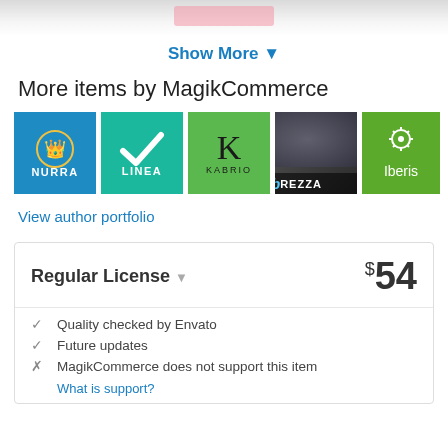[Figure (screenshot): Top partial image strip cropped from above]
Show More ▾
More items by MagikCommerce
[Figure (logo): Row of 5 product logos: NURRA (blue), LINEA (teal), KABRIO (green), BREZZA (dark photo), Iberis (green)]
View author portfolio
Regular License ▾   $54
Quality checked by Envato
Future updates
MagikCommerce does not support this item
What is support?